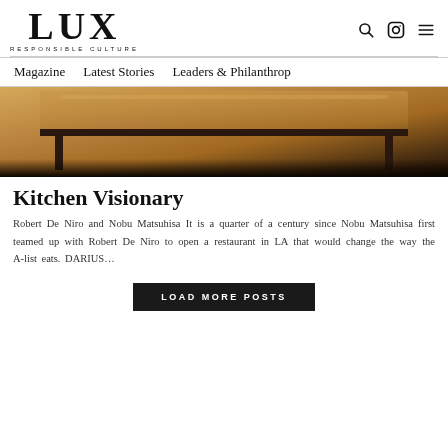LUX RESPONSIBLE CULTURE
Magazine   Latest Stories   Leaders & Philanthrop
[Figure (photo): A wooden restaurant table with dark metal frame, warm amber lighting, overhead view]
Kitchen Visionary
Robert De Niro and Nobu Matsuhisa It is a quarter of a century since Nobu Matsuhisa first teamed up with Robert De Niro to open a restaurant in LA that would change the way the A-list eats. DARIUS…
LOAD MORE POSTS